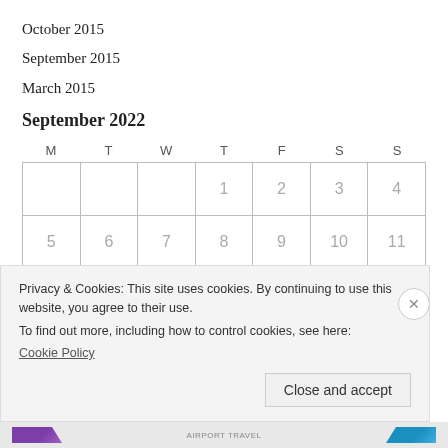October 2015
September 2015
March 2015
September 2022
| M | T | W | T | F | S | S |
| --- | --- | --- | --- | --- | --- | --- |
|  |  |  | 1 | 2 | 3 | 4 |
| 5 | 6 | 7 | 8 | 9 | 10 | 11 |
|  |  |  |  |  |  |  |
Privacy & Cookies: This site uses cookies. By continuing to use this website, you agree to their use.
To find out more, including how to control cookies, see here:
Cookie Policy
AIRPORT TRAVEL